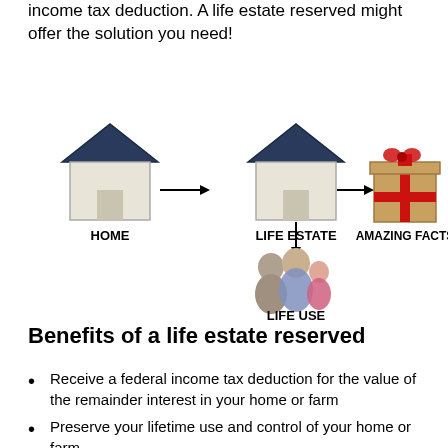income tax deduction. A life estate reserved might offer the solution you need!
[Figure (infographic): Diagram showing: HOME (house icon) → LIFE ESTATE (house icon) → AMAZING FACTS (gift box icon), and LIFE ESTATE → LIFE USE (family icon). Arrows connect the elements.]
Benefits of a life estate reserved
Receive a federal income tax deduction for the value of the remainder interest in your home or farm
Preserve your lifetime use and control of your home or farm
Create a life estate based on more than one